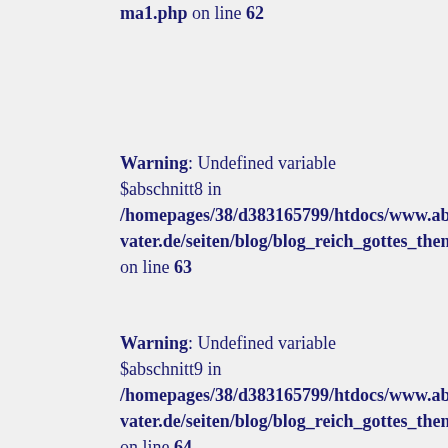ma1.php on line 62
Warning: Undefined variable $abschnitt8 in /homepages/38/d383165799/htdocs/www.abba-vater.de/seiten/blog/blog_reich_gottes_thema1.php on line 63
Warning: Undefined variable $abschnitt9 in /homepages/38/d383165799/htdocs/www.abba-vater.de/seiten/blog/blog_reich_gottes_thema1.php on line 64